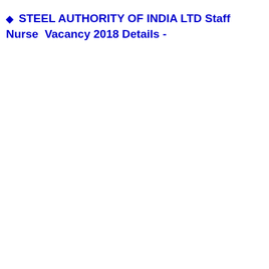◆ STEEL AUTHORITY OF INDIA LTD Staff Nurse Vacancy 2018 Details -